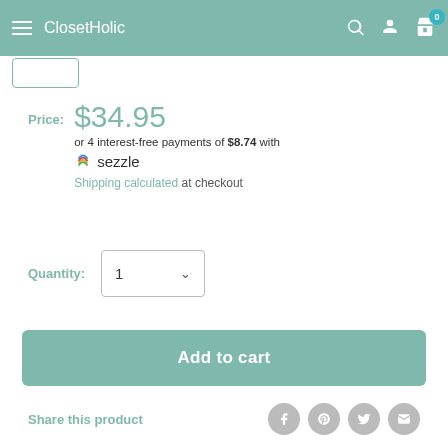ClosetHolic
Price: $34.95 or 4 interest-free payments of $8.74 with Sezzle. Shipping calculated at checkout
Quantity: 1
Add to cart
Share this product